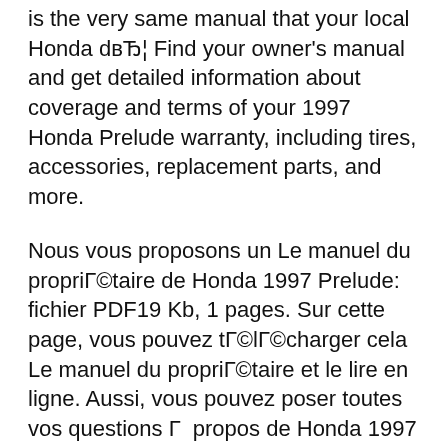is the very same manual that your local Honda dвЂ¦ Find your owner's manual and get detailed information about coverage and terms of your 1997 Honda Prelude warranty, including tires, accessories, replacement parts, and more.
Nous vous proposons un Le manuel du propriГ©taire de Honda 1997 Prelude: fichier PDF19 Kb, 1 pages. Sur cette page, vous pouvez tГ©lГ©charger cela Le manuel du propriГ©taire et le lire en ligne. Aussi, vous pouvez poser toutes vos questions Г  propos de Honda 1997 Prelude. Honda PRELUDE Pdf User Manuals. View online or download Honda PRELUDE Owner's Manual